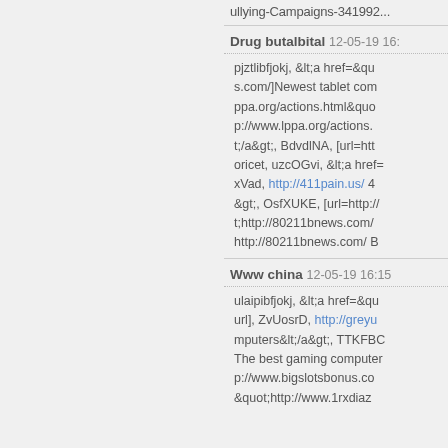ullying-Campaigns-341992...
Drug butalbital 12-05-19 16:...
pjztlibfjokj, &lt;a href=&qu... s.com/]Newest tablet com... ppa.org/actions.html&quot... p://www.lppa.org/actions.... t;/a&gt;, BdvdlNA, [url=htt... oricet, uzcOGvi, &lt;a href=... xVad, http://411pain.us/ 4... &gt;, OsfXUKE, [url=http://... t;http://80211bnews.com/... http://80211bnews.com/ B...
Www china 12-05-19 16:15
ulaipibfjokj, &lt;a href=&qu... url], ZvUosrD, http://greyu... mputers&lt;/a&gt;, TTKFBC... The best gaming computer... p://www.bigslotsbonus.co... &quot;http://www.1rxdiaz...